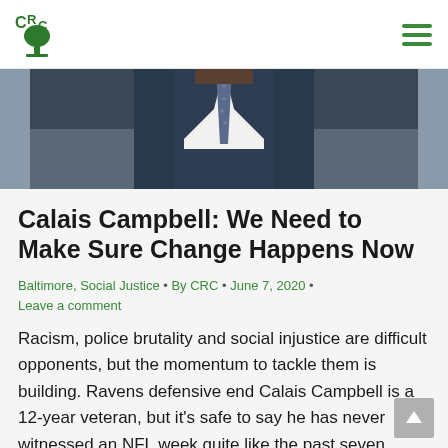CRC logo and navigation menu
[Figure (photo): Close-up photo of a man in a dark navy suit and blue-grey tie, cropped at the chin, upper chest visible]
Calais Campbell: We Need to Make Sure Change Happens Now
Baltimore, Social Justice · By CRC · June 7, 2020 · Leave a comment
Racism, police brutality and social injustice are difficult opponents, but the momentum to tackle them is building. Ravens defensive end Calais Campbell is a 12-year veteran, but it's safe to say he has never witnessed an NFL week quite like the past seven days.